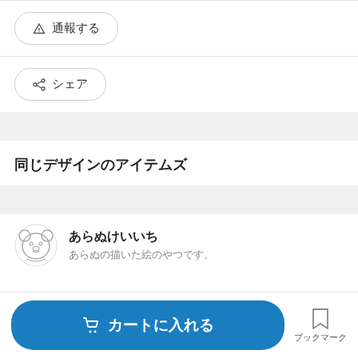▲ 通報する
シェア
同じデザインのアイテムズ
あらぬけいいち
あらぬの描いた絵のやつです。
🛒 カートに入れる
ブックマーク